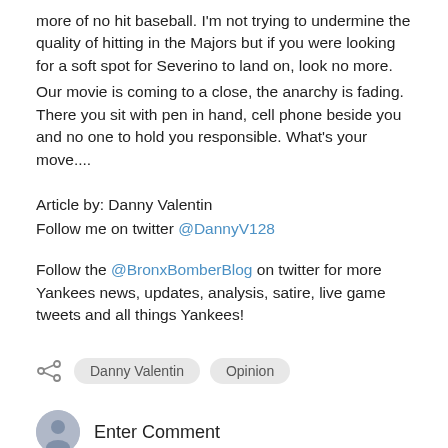more of no hit baseball. I'm not trying to undermine the quality of hitting in the Majors but if you were looking for a soft spot for Severino to land on, look no more.
Our movie is coming to a close, the anarchy is fading. There you sit with pen in hand, cell phone beside you and no one to hold you responsible. What's your move....
Article by: Danny Valentin
Follow me on twitter @DannyV128
Follow the @BronxBomberBlog on twitter for more Yankees news, updates, analysis, satire, live game tweets and all things Yankees!
Danny Valentin   Opinion
Enter Comment